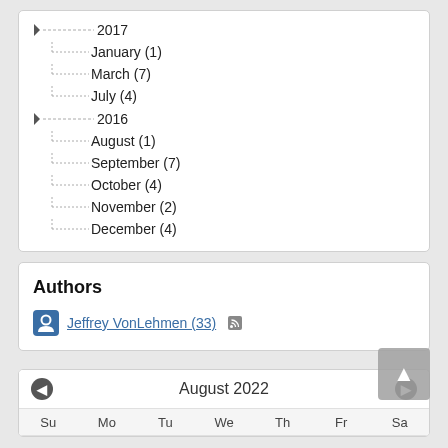2017
January (1)
March (7)
July (4)
2016
August (1)
September (7)
October (4)
November (2)
December (4)
Authors
Jeffrey VonLehmen (33)
August 2022
Su Mo Tu We Th Fr Sa